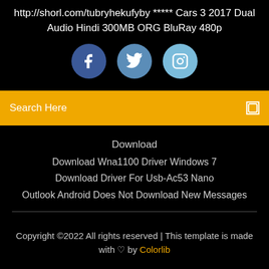http://shorl.com/tubryhekufyby ***** Cars 3 2017 Dual Audio Hindi 300MB ORG BluRay 480p
[Figure (illustration): Three social media icon circles: Facebook (dark blue), Twitter (medium blue), Instagram (light blue)]
Search Here
Download
Download Wna1100 Driver Windows 7
Download Driver For Usb-Ac53 Nano
Outlook Android Does Not Download New Messages
Copyright ©2022 All rights reserved | This template is made with ♡ by Colorlib